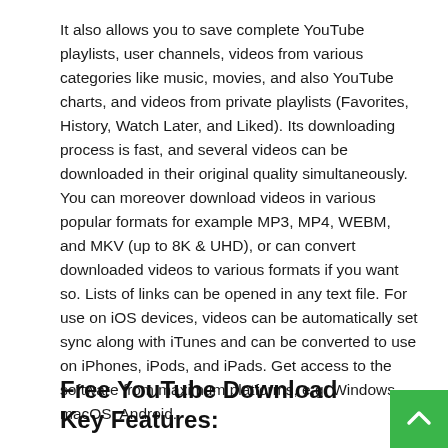It also allows you to save complete YouTube playlists, user channels, videos from various categories like music, movies, and also YouTube charts, and videos from private playlists (Favorites, History, Watch Later, and Liked). Its downloading process is fast, and several videos can be downloaded in their original quality simultaneously. You can moreover download videos in various popular formats for example MP3, MP4, WEBM, and MKV (up to 8K & UHD), or can convert downloaded videos to various formats if you want so. Lists of links can be opened in any text file. For use on iOS devices, videos can be automatically set sync along with iTunes and can be converted to use on iPhones, iPods, and iPads. Get access to the software from maximum platforms, e.g. Windows, macOS, Android.
Free YouTube Download Key Features: